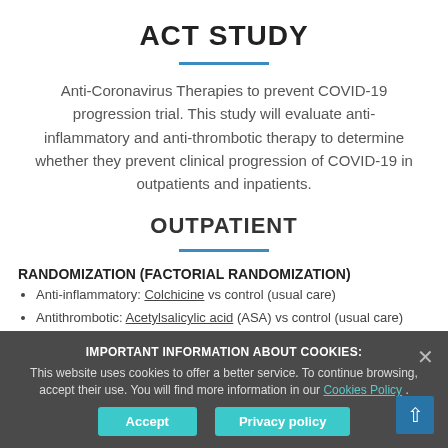ACT STUDY
Anti-Coronavirus Therapies to prevent COVID-19 progression trial. This study will evaluate anti-inflammatory and anti-thrombotic therapy to determine whether they prevent clinical progression of COVID-19 in outpatients and inpatients.
OUTPATIENT
RANDOMIZATION (FACTORIAL RANDOMIZATION)
Anti-inflammatory: Colchicine vs control (usual care)
Antithrombotic: Acetylsalicylic acid (ASA) vs control (usual care)